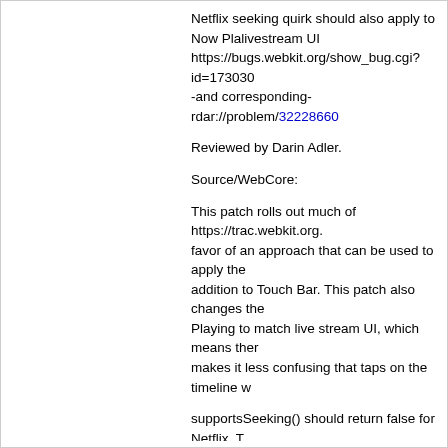Netflix seeking quirk should also apply to Now Playing livestream UI https://bugs.webkit.org/show_bug.cgi?id=173030 -and corresponding- rdar://problem/32228660
Reviewed by Darin Adler.
Source/WebCore:
This patch rolls out much of https://trac.webkit.org. favor of an approach that can be used to apply the addition to Touch Bar. This patch also changes the Playing to match live stream UI, which means ther makes it less confusing that taps on the timeline w
supportsSeeking() should return false for Netflix. T public now.
* html/HTMLMediaElement.cpp:
(WebCore::needsSeekingSupportQuirk):
(WebCore::HTMLMediaElement::supportsSeeking
* html/HTMLMediaElement.h:
Here is where we get the desired result in Now Pla currentSession supportsSeeking() before relying o the sake of Now Playing.
* platform/audio/mac/MediaSessionManagerMac.m
(WebCore::MediaSessionManagerMac::updateNo